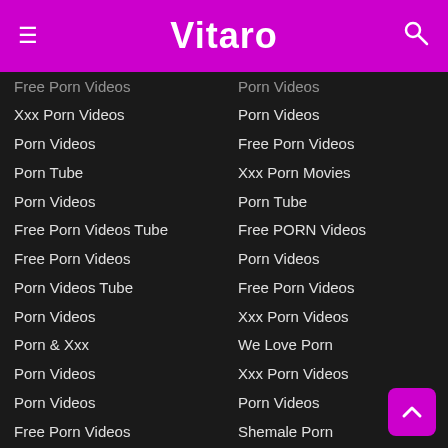Vitaro
Free Porn Videos
Xxx Porn Videos
Porn Videos
Porn Tube
Porn Videos
Free Porn Videos Tube
Free Porn Videos
Porn Videos Tube
Porn Videos
Porn & Xxx
Porn Videos
Porn Videos
Free Porn Videos
Free Online Porn Videos
Porn Videos
Porn Videos
Porn Videos
Porn Videos
Free Porn Videos
Free Porn Tube Videos
Free Porn Tube
Porn Videos
Free Porn Videos
Xxx Porn Movies
Porn Tube
Free PORN Videos
Porn Videos
Free Porn Videos
Xxx Porn Videos
We Love Porn
Xxx Porn Videos
Porn Videos
Shemale Porn
Просто Порно Видео
Free Porn Tube
Porn Teens Tube
Porn Videos
❤ Porn Videos Star
Hentai Porn Videos
Reality Porn Pics
HOT Porn GIFs